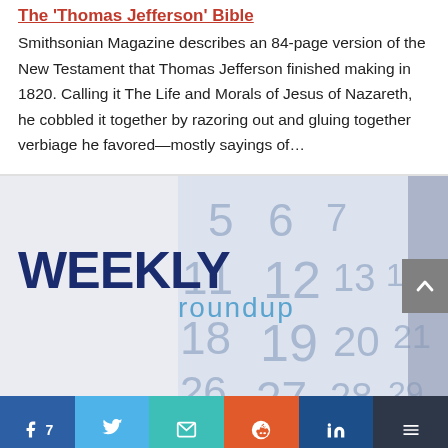The 'Thomas Jefferson' Bible
Smithsonian Magazine describes an 84-page version of the New Testament that Thomas Jefferson finished making in 1820. Calling it The Life and Morals of Jesus of Nazareth, he cobbled it together by razoring out and gluing together verbiage he favored—mostly sayings of…
[Figure (illustration): Weekly Roundup banner image with a calendar background showing dates 5, 6, 7, 11, 12, 13, 14, 18, 19, 20, 21, 26, 27, 28, 29 and bold text 'WEEKLY roundup']
Facebook share button with count 7
Twitter share button
Email share button
Reddit share button
LinkedIn share button
Buffer share button